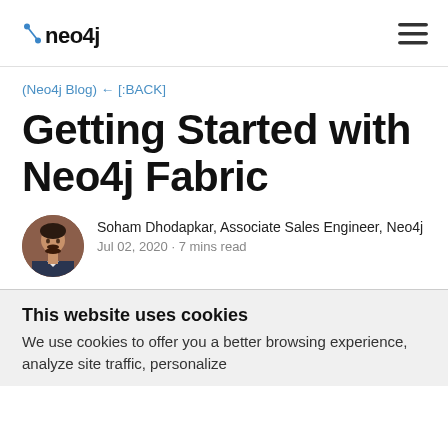neo4j [hamburger menu]
(Neo4j Blog) ← [:BACK]
Getting Started with Neo4j Fabric
[Figure (photo): Circular avatar photo of Soham Dhodapkar, a man in a suit jacket against a brick wall background]
Soham Dhodapkar, Associate Sales Engineer, Neo4j
Jul 02, 2020 · 7 mins read
This website uses cookies
We use cookies to offer you a better browsing experience, analyze site traffic, personalize